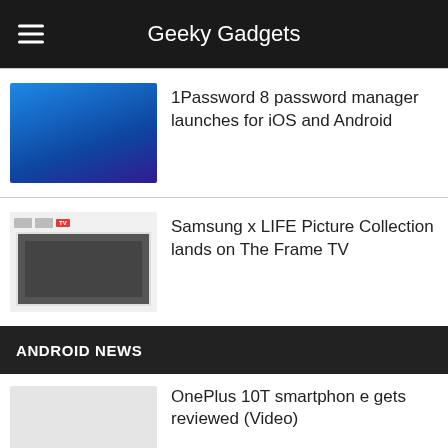Geeky Gadgets
1Password 8 password manager launches for iOS and Android
Samsung x LIFE Picture Collection lands on The Frame TV
ANDROID NEWS
OnePlus 10T smartphone gets reviewed (Video)